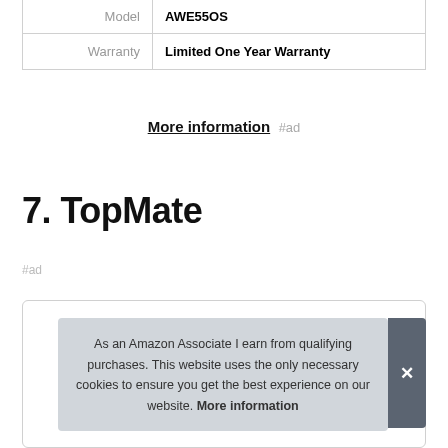| Model | AWE55OS |
| Warranty | Limited One Year Warranty |
More information #ad
7. TopMate
#ad
As an Amazon Associate I earn from qualifying purchases. This website uses the only necessary cookies to ensure you get the best experience on our website. More information